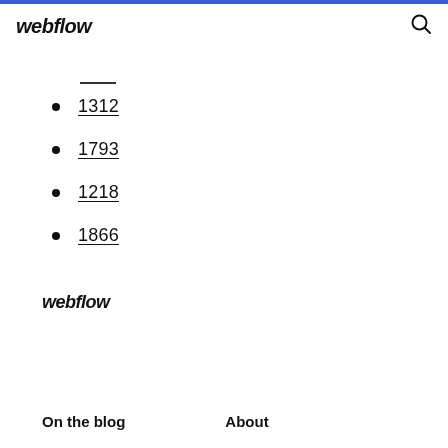webflow
1312
1793
1218
1866
webflow
On the blog   About